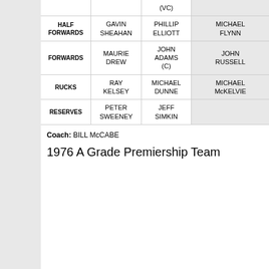| Position | Player 1 | Player 2 | Player 3 |
| --- | --- | --- | --- |
|  |  | (VC) |  |
| HALF FORWARDS | GAVIN SHEAHAN | PHILLIP ELLIOTT | MICHAEL FLYNN |
| FORWARDS | MAURIE DREW | JOHN ADAMS (C) | JOHN RUSSELL |
| RUCKS | RAY KELSEY | MICHAEL DUNNE | MICHAEL McKELVIE |
| RESERVES | PETER SWEENEY | JEFF SIMKIN |  |
Coach: BILL McCABE
1976 A Grade Premiership Team